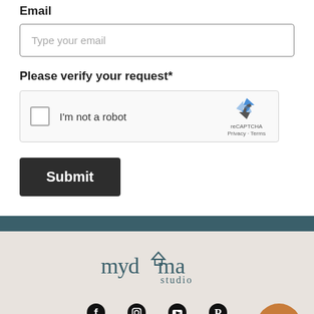Email
Type your email
Please verify your request*
[Figure (screenshot): reCAPTCHA widget with checkbox labeled 'I'm not a robot', reCAPTCHA logo, Privacy and Terms links]
Submit
[Figure (logo): mydoma studio logo]
[Figure (infographic): Social media icons: Facebook, Instagram, YouTube, Pinterest]
OFFICE